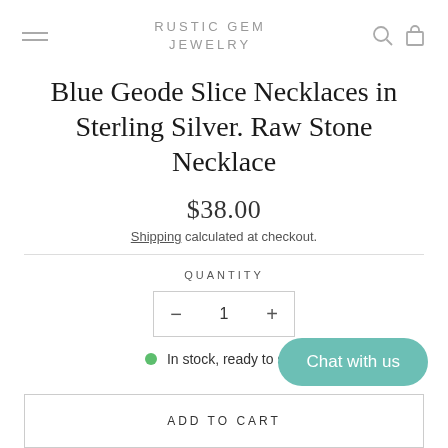RUSTIC GEM JEWELRY
Blue Geode Slice Necklaces in Sterling Silver. Raw Stone Necklace
$38.00
Shipping calculated at checkout.
QUANTITY
- 1 +
In stock, ready to ship
ADD TO CART
Chat with us